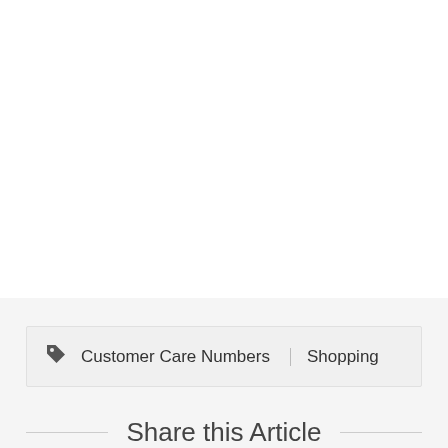Customer Care Numbers  Shopping
Share this Article